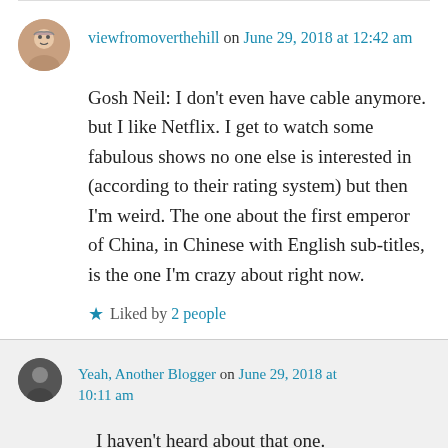viewfromoverthehill on June 29, 2018 at 12:42 am
Gosh Neil: I don't even have cable anymore. but I like Netflix. I get to watch some fabulous shows no one else is interested in (according to their rating system) but then I'm weird. The one about the first emperor of China, in Chinese with English sub-titles, is the one I'm crazy about right now.
Liked by 2 people
Yeah, Another Blogger on June 29, 2018 at 10:11 am
I haven't heard about that one.